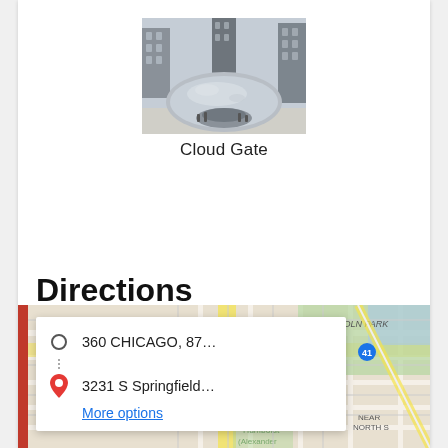[Figure (photo): Photo of Cloud Gate sculpture (The Bean) in Chicago, showing the reflective silver bean-shaped sculpture with city buildings reflected in it, against a light sky.]
Cloud Gate
Directions
[Figure (screenshot): Google Maps screenshot showing a directions popup overlay on a Chicago street map. The popup shows two route points: '360 CHICAGO, 87...' (origin, with circle icon) and '3231 S Springfield...' (destination, with red pin icon), and a 'More options' link in blue. The map shows the Lincoln Park area and surrounding Chicago neighborhoods with streets, green park areas, and yellow highlighted routes.]